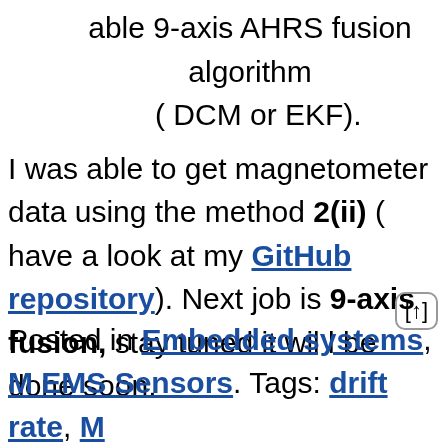able 9-axis AHRS fusion algorithm ( DCM or EKF).
I was able to get magnetometer data using the method 2(ii) ( have a look at my GitHub repository). Next job is 9-axis fusion, stay tuned it will be done soon.
Posted in Embedded systems, MEMS Sensors. Tags: drift rate, M